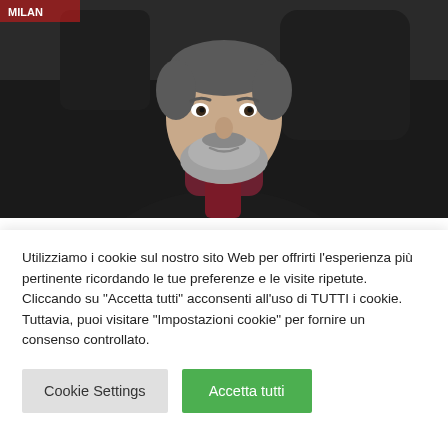[Figure (photo): A middle-aged man with a grey beard wearing a dark suit and dark turtleneck, seated in a black leather chair, photographed indoors.]
Sport
Pioli avvisa l'Inter: il Milan nel derby
Utilizziamo i cookie sul nostro sito Web per offrirti l'esperienza più pertinente ricordando le tue preferenze e le visite ripetute. Cliccando su "Accetta tutti" acconsenti all'uso di TUTTI i cookie. Tuttavia, puoi visitare "Impostazioni cookie" per fornire un consenso controllato.
Cookie Settings
Accetta tutti